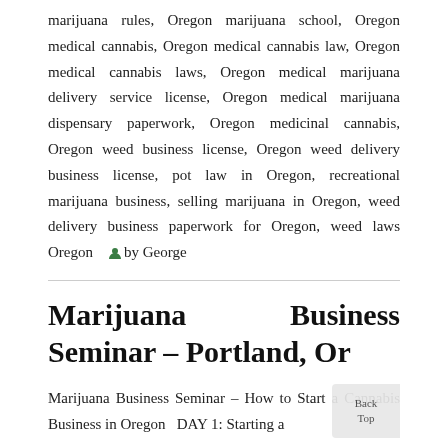marijuana rules, Oregon marijuana school, Oregon medical cannabis, Oregon medical cannabis law, Oregon medical cannabis laws, Oregon medical marijuana delivery service license, Oregon medical marijuana dispensary paperwork, Oregon medicinal cannabis, Oregon weed business license, Oregon weed delivery business license, pot law in Oregon, recreational marijuana business, selling marijuana in Oregon, weed delivery business paperwork for Oregon, weed laws Oregon   by George
Marijuana Business Seminar – Portland, Or
Marijuana Business Seminar – How to Start a Cannabis Business in Oregon  DAY 1: Starting a